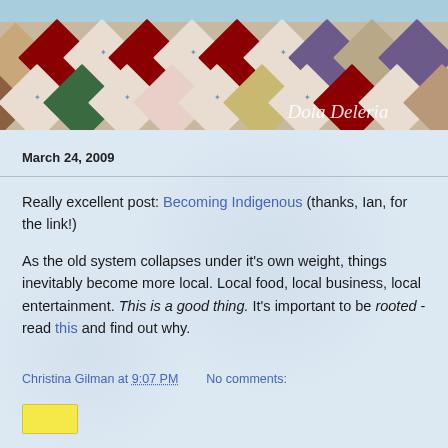[Figure (photo): Header banner showing a colorful patchwork quilt with diamond pattern pieces in various fabrics including burgundy, white with small prints, green, orange, and purple. The blog title 'Dola Deleria' appears in white italic script at the bottom right of the image.]
March 24, 2009
Really excellent post: Becoming Indigenous (thanks, Ian, for the link!)
As the old system collapses under it's own weight, things inevitably become more local. Local food, local business, local entertainment. This is a good thing. It's important to be rooted - read this and find out why.
Christina Gilman at 9:07 PM    No comments: